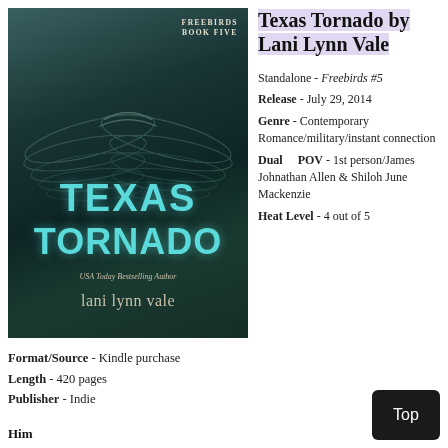[Figure (illustration): Book cover for 'Texas Tornado' by Lani Lynn Vale. Dark teal/green background showing a tattooed back with wing tattoo. Title 'TEXAS TORNADO' in large teal letters. Series label 'FREEBIRDS BOOK FIVE' at top. Author name 'lani lynn vale' at bottom. Subtitle 'USA Today Bestselling Author'.]
Texas Tornado by Lani Lynn Vale
Standalone - Freebirds #5
Release - July 29, 2014
Genre - Contemporary Romance/military/instant connection
Dual POV - 1st person/James Johnathan Allen & Shiloh June Mackenzie
Heat Level - 4 out of 5
Format/Source - Kindle purchase
Length - 420 pages
Publisher - Indie
Him